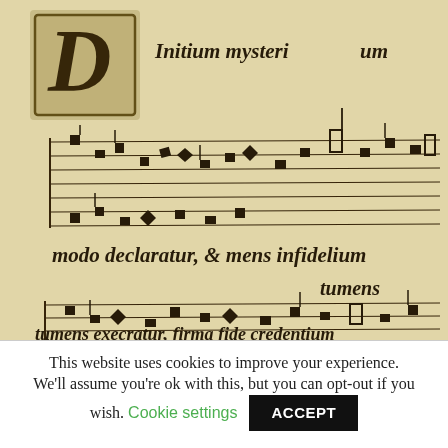[Figure (illustration): Scanned page of Renaissance polyphonic sheet music manuscript with decorative initial letter 'D', multiple staves with mensural notation in black ink on aged parchment. Latin text interspersed: 'Initium mysteri um', 'modo declaratur, & mens infidelium', 'tumens', 'tumens execratur, firma fide credentium'.]
This website uses cookies to improve your experience. We'll assume you're ok with this, but you can opt-out if you wish.
Cookie settings
ACCEPT